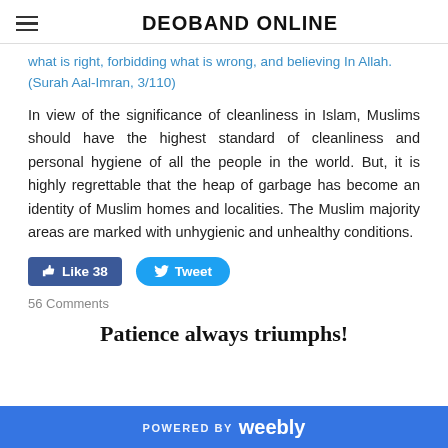DEOBAND ONLINE
what is right, forbidding what is wrong, and believing In Allah. (Surah Aal-Imran, 3/110)
In view of the significance of cleanliness in Islam, Muslims should have the highest standard of cleanliness and personal hygiene of all the people in the world. But, it is highly regrettable that the heap of garbage has become an identity of Muslim homes and localities. The Muslim majority areas are marked with unhygienic and unhealthy conditions.
[Figure (screenshot): Social sharing buttons: Facebook Like (38) and Twitter Tweet buttons]
56 Comments
Patience always triumphs!
POWERED BY weebly